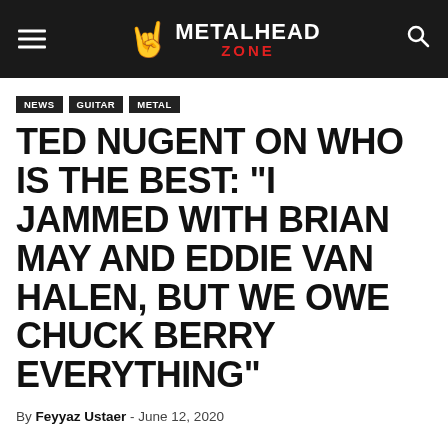METALHEAD ZONE
NEWS
GUITAR
METAL
TED NUGENT ON WHO IS THE BEST: “I JAMMED WITH BRIAN MAY AND EDDIE VAN HALEN, BUT WE OWE CHUCK BERRY EVERYTHING”
By Feyyaz Ustaer - June 12, 2020